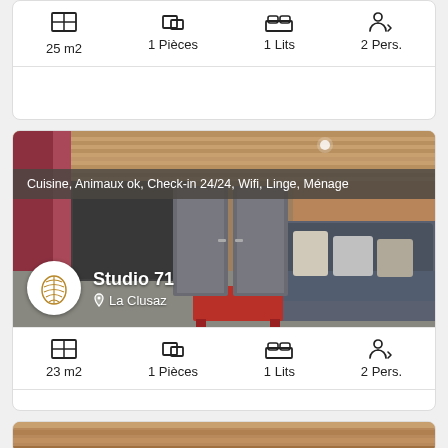25 m2   1 Pièces   1 Lits   2 Pers.
[Figure (photo): Interior photo of a studio apartment with wooden ceiling and walls, sofa with pillows, red coffee table, kitchen area, and gray doors. Overlay text: Cuisine, Animaux ok, Check-in 24/24, Wifi, Linge, Ménage. Logo and listing name Studio 71, La Clusaz.]
23 m2   1 Pièces   1 Lits   2 Pers.
[Figure (photo): Partial photo of another listing, showing a wooden ceiling interior.]